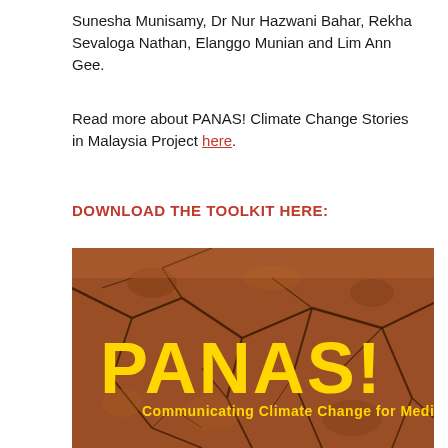Sunesha Munisamy, Dr Nur Hazwani Bahar, Rekha Sevaloga Nathan, Elanggo Munian and Lim Ann Gee.
Read more about PANAS! Climate Change Stories in Malaysia Project here.
DOWNLOAD THE TOOLKIT HERE:
[Figure (photo): Book cover image of PANAS! Communicating Climate Change for Media toolkit, showing cracked dry earth background with large yellow bold text 'PANAS!' and subtitle 'Communicating Climate Change for Media' in yellow.]